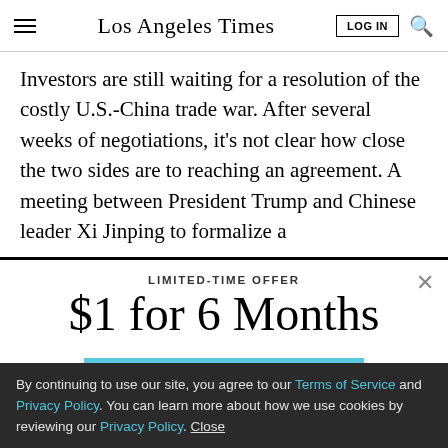Los Angeles Times
Investors are still waiting for a resolution of the costly U.S.-China trade war. After several weeks of negotiations, it's not clear how close the two sides are to reaching an agreement. A meeting between President Trump and Chinese leader Xi Jinping to formalize a
LIMITED-TIME OFFER
$1 for 6 Months
SUBSCRIBE NOW
By continuing to use our site, you agree to our Terms of Service and Privacy Policy. You can learn more about how we use cookies by reviewing our Privacy Policy. Close